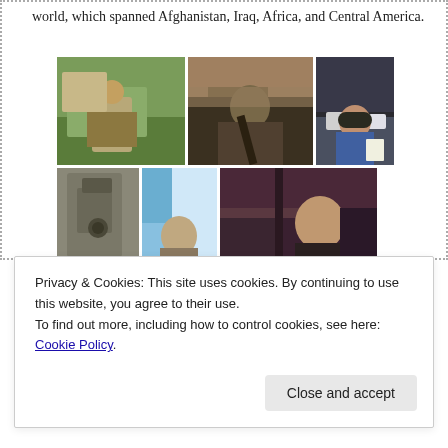world, which spanned Afghanistan, Iraq, Africa, and Central America.
[Figure (photo): Grid of six photographs showing military/field scenes: top row — soldier in field with radio, person inside military vehicle with weapon, man in sunglasses outdoors; bottom row — military equipment closeup, person against blue sky, man at dusk/night.]
Privacy & Cookies: This site uses cookies. By continuing to use this website, you agree to their use.
To find out more, including how to control cookies, see here: Cookie Policy.